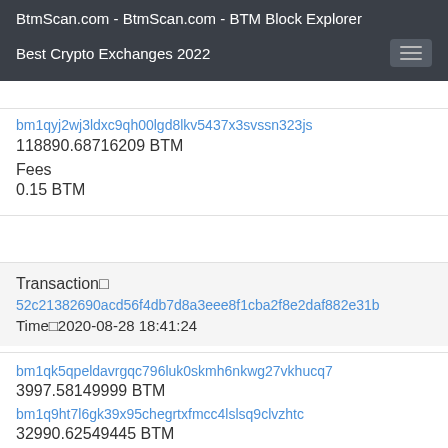BtmScan.com - BtmScan.com - BTM Block Explorer
Best Crypto Exchanges 2022
bm1qyj2wj3ldxc9qh00lgd8lkv5437x3svssn323js
118890.68716209 BTM
Fees
0.15 BTM
Transaction□
52c21382690acd56f4db7d8a3eee8f1cba2f8e2daf882e31b
Time□2020-08-28 18:41:24
bm1qk5qpeldavrgqc796luk0skmh6nkwg27vkhucq7
3997.58149999 BTM
bm1q9ht7l6gk39x95chegrtxfmcc4lslsq9clvzhtc
32990.62549445 BTM